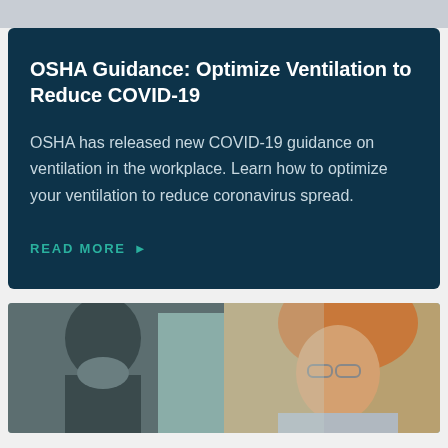OSHA Guidance: Optimize Ventilation to Reduce COVID-19
OSHA has released new COVID-19 guidance on ventilation in the workplace. Learn how to optimize your ventilation to reduce coronavirus spread.
READ MORE ▶
[Figure (photo): Two people in a workplace or medical setting, one on the left wearing a mask, another on the right with glasses and reddish/blonde hair, partially shown, blurred/cropped.]